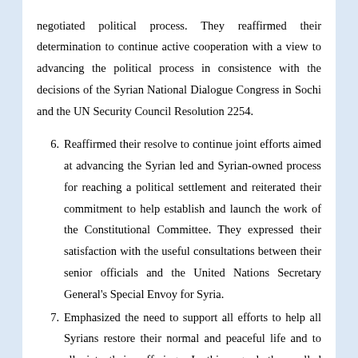negotiated political process. They reaffirmed their determination to continue active cooperation with a view to advancing the political process in consistence with the decisions of the Syrian National Dialogue Congress in Sochi and the UN Security Council Resolution 2254.
6. Reaffirmed their resolve to continue joint efforts aimed at advancing the Syrian led and Syrian-owned process for reaching a political settlement and reiterated their commitment to help establish and launch the work of the Constitutional Committee. They expressed their satisfaction with the useful consultations between their senior officials and the United Nations Secretary General's Special Envoy for Syria.
7. Emphasized the need to support all efforts to help all Syrians restore their normal and peaceful life and to alleviate their sufferings. In this regard, they called upon the international community, particularly the United Nations and its humanitarian agencies, to increase their assistance to Syria by providing additional humanitarian aid, facilitating humanitarian mine action